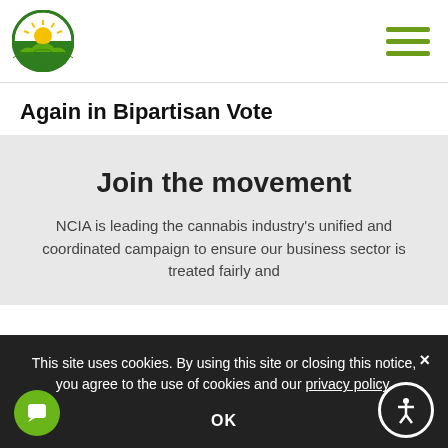NCIA cannabis industry association logo and navigation menu
Again in Bipartisan Vote
Join the movement
NCIA is leading the cannabis industry's unified and coordinated campaign to ensure our business sector is treated fairly and
This site uses cookies. By using this site or closing this notice, you agree to the use of cookies and our privacy policy.
OK